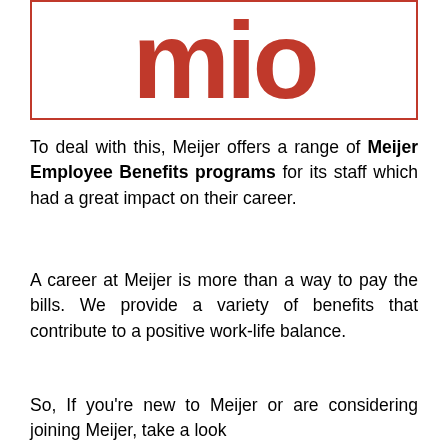[Figure (logo): Meijer logo — large red letters 'mio' inside a red-bordered rectangle]
To deal with this, Meijer offers a range of Meijer Employee Benefits programs for its staff which had a great impact on their career.
A career at Meijer is more than a way to pay the bills. We provide a variety of benefits that contribute to a positive work-life balance.
So, If you're new to Meijer or are considering joining Meijer, take a look